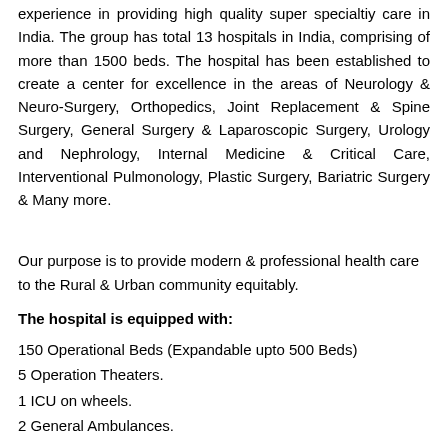experience in providing high quality super specialtiy care in India. The group has total 13 hospitals in India, comprising of more than 1500 beds. The hospital has been established to create a center for excellence in the areas of Neurology & Neuro-Surgery, Orthopedics, Joint Replacement & Spine Surgery, General Surgery & Laparoscopic Surgery, Urology and Nephrology, Internal Medicine & Critical Care, Interventional Pulmonology, Plastic Surgery, Bariatric Surgery & Many more.
Our purpose is to provide modern & professional health care to the Rural & Urban community equitably.
The hospital is equipped with:
150 Operational Beds (Expandable upto 500 Beds)
5 Operation Theaters.
1 ICU on wheels.
2 General Ambulances.